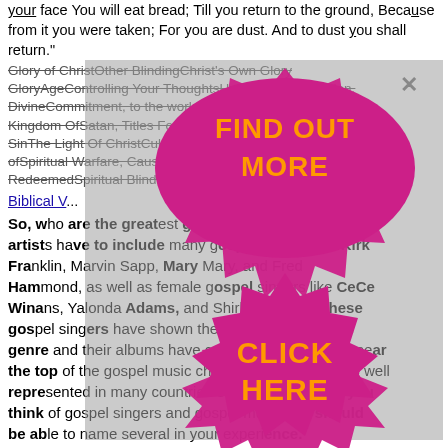your face You will eat bread, Till you return to the ground, Because from it you were taken; For you are dust. And to dust you shall return."
Glory of ChristOther BlindingChrist's Own GloryAgeControlling Your ThoughtsUnbelieversPerfection, DivineCommitment, to the worldChrist, Names ForSatan, Kingdom OfSatan, Titles ForDarkness, As A Symbol Of SinThe Light Of ChristCultsRevelation, In Ntevil, origins ofSpiritual Warfare, Causes OfHeart, Fallen And RedeemedSpiritual Blindness, Results Of SinBlinsting
Biblical V...
[Figure (infographic): Ad overlay with pink/magenta gear-starburst shape containing orange bold text 'FIND OUT MORE' at top and 'CLICK HERE' at bottom, with a gray semi-transparent overlay and an X close button in the upper right.]
So, who are the greatest gospel artists? The list of gospel singers like Kirk Franklin, Marvin Sapp, Mary Mary, and Fred Hammond, as well as female gospel singers like CeCe Winans, Yolanda Adams, and Shirley Caesar. These gospel singers have shown the most interest in the genre and their albums have consistently been at or near the top of the gospel music charts. Gospel music is well represented in many countries of the world. When you think of gospel singers and gospel music you should be able to name several in your experience.
Scripture...
See what the Bible says about this topic, that we should be careful about what we share. The "Most popular" content would not be...